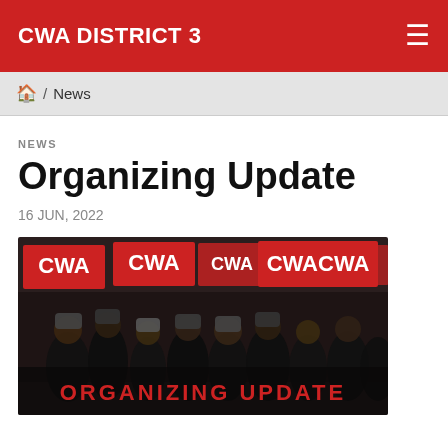CWA DISTRICT 3
🏠 / News
NEWS
Organizing Update
16 JUN, 2022
[Figure (photo): Crowd of people holding red CWA banner signs at a rally, with text 'ORGANIZING UPDATE' overlaid at the bottom in red letters]